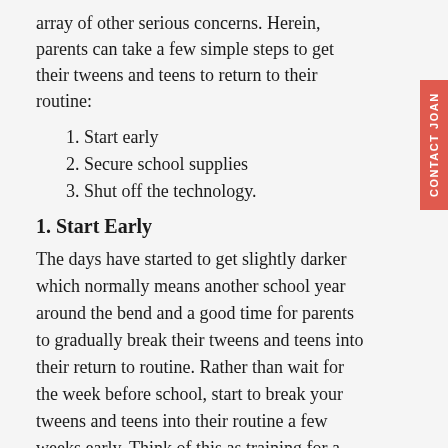array of other serious concerns.  Herein, parents can take a few simple steps to get their tweens and teens to return to their routine:
1. Start early
2. Secure school supplies
3. Shut off the technology.
1. Start Early
The days have started to get slightly darker which normally means another school year around the bend and a good time for parents to gradually break their tweens and teens into their return to routine.  Rather than wait for the week before school, start to break your tweens and teens into their routine a few weeks early.  Think of this as training for a race.  One starts with a run around the block and builds to a mile and then a marathon.  This way, your tweens and teens will have a gradual process and be grateful that they were